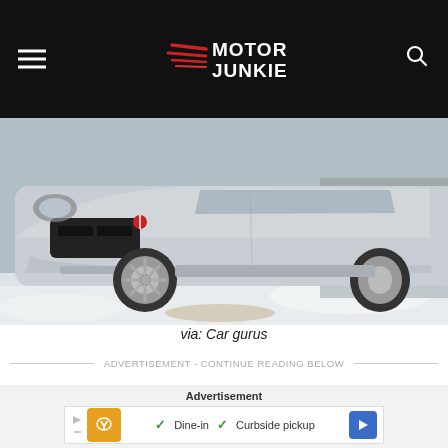Motor Junkie
[Figure (photo): Silver Pontiac Grand Prix photographed from the front-left angle in a snowy parking area]
via: Car gurus
ADVERTISEMENT - CONTINUE READING BELOW
[Figure (infographic): Advertisement banner showing restaurant with Dine-in and Curbside pickup checkmarks]